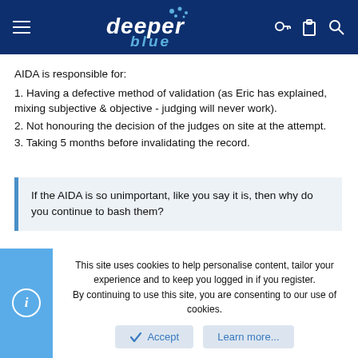deeper blue
AIDA is responsible for:
1. Having a defective method of validation (as Eric has explained, mixing subjective & objective - judging will never work).
2. Not honouring the decision of the judges on site at the attempt.
3. Taking 5 months before invalidating the record.
If the AIDA is so unimportant, like you say it is, then why do you continue to bash them?
As long as AIDA is negatively influencing the sport of freediving then it deserves this criticism.
This site uses cookies to help personalise content, tailor your experience and to keep you logged in if you register.
By continuing to use this site, you are consenting to our use of cookies.